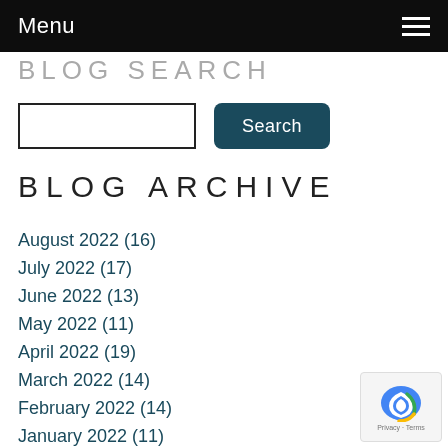Menu
BLOG SEARCH
BLOG ARCHIVE
August 2022 (16)
July 2022 (17)
June 2022 (13)
May 2022 (11)
April 2022 (19)
March 2022 (14)
February 2022 (14)
January 2022 (11)